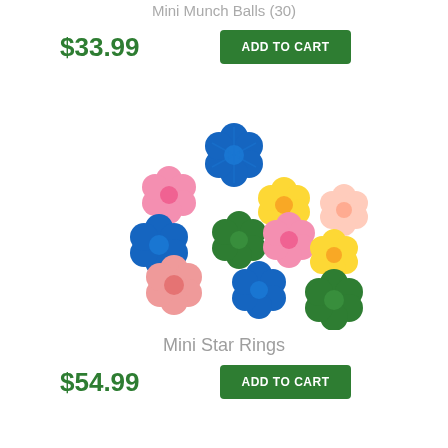Mini Munch Balls (30)
$33.99
ADD TO CART
[Figure (photo): A colorful pile of Mini Star Rings toy pieces in various colors including blue, pink, yellow, green, and peach, arranged in an overlapping cluster on a white background.]
Mini Star Rings
$54.99
ADD TO CART